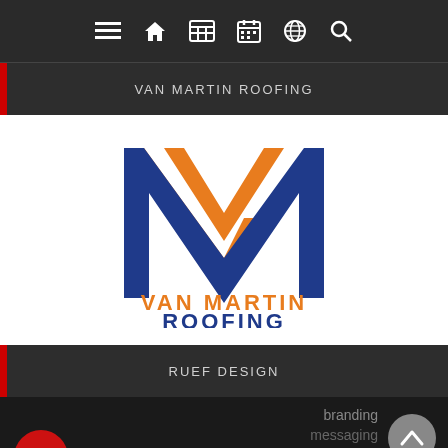Navigation bar with menu, home, grid, calendar, globe, and search icons
VAN MARTIN ROOFING
[Figure (logo): Van Martin Roofing logo: large VM lettermark in orange and navy blue, with 'VAN MARTIN' in orange and 'ROOFING' in navy below]
RUEF DESIGN
[Figure (screenshot): Partial preview of Ruef Design content showing a red circle, and text 'branding' and 'messaging' on dark background, with a scroll-up button]